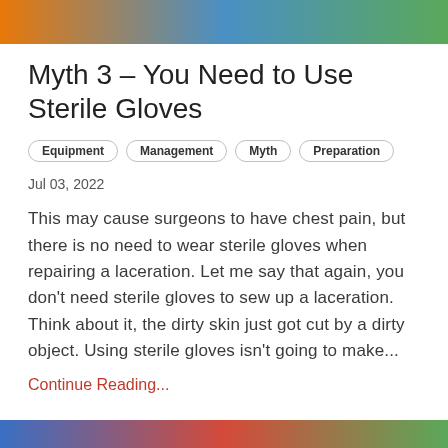[Figure (photo): Top partial image of a person wearing surgical/medical gloves, orange and blue colors visible]
Myth 3 – You Need to Use Sterile Gloves
Equipment  Management  Myth  Preparation
Jul 03, 2022
This may cause surgeons to have chest pain, but there is no need to wear sterile gloves when repairing a laceration. Let me say that again, you don't need sterile gloves to sew up a laceration. Think about it, the dirty skin just got cut by a dirty object. Using sterile gloves isn't going to make...
Continue Reading...
[Figure (photo): Bottom partial image of a person in medical/surgical setting, blue and red colors visible]